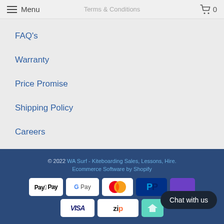Menu  Terms & Conditions  0
FAQ's
Warranty
Price Promise
Shipping Policy
Careers
© 2022 WA Surf - Kiteboarding Sales, Lessons, Hire. Ecommerce Software by Shopify
[Figure (logo): Payment method logos: Apple Pay, Google Pay, Mastercard, PayPal, a purple badge, Visa, Zip, and a teal badge]
Chat with us